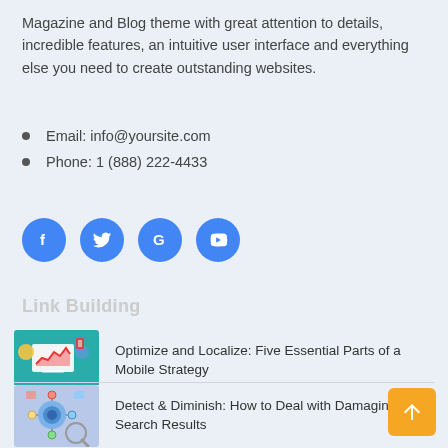Magazine and Blog theme with great attention to details, incredible features, an intuitive user interface and everything else you need to create outstanding websites.
Email: info@yoursite.com
Phone: 1 (888) 222-4433
[Figure (illustration): Four blue circular social media icon buttons: Facebook (f), Twitter (bird), Google (G), YouTube (play button)]
Link Building
[Figure (illustration): Thumbnail image showing a mobile/tablet device with a red area chart on screen, surrounded by marketing icons on a teal background]
Optimize and Localize: Five Essential Parts of a Mobile Strategy
[Figure (illustration): Thumbnail image showing a network/gear diagram with a magnifying glass on a light blue background]
Detect & Diminish: How to Deal with Damaging Search Results